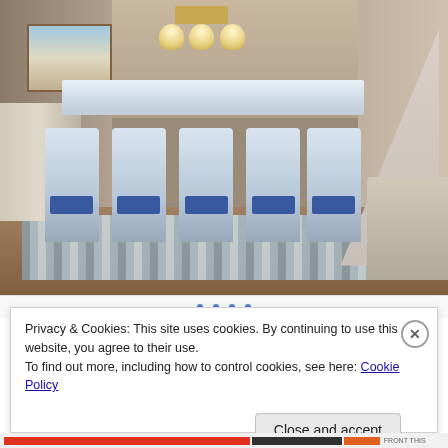[Figure (photo): Interior photo of a dining room with a white dining table and six white chairs with blue cushions, a striped area rug, pendant chandelier, staircase in the background, a beach-themed painting on the wall, and part of a gray sofa visible on the right.]
Privacy & Cookies: This site uses cookies. By continuing to use this website, you agree to their use.
To find out more, including how to control cookies, see here: Cookie Policy
Close and accept